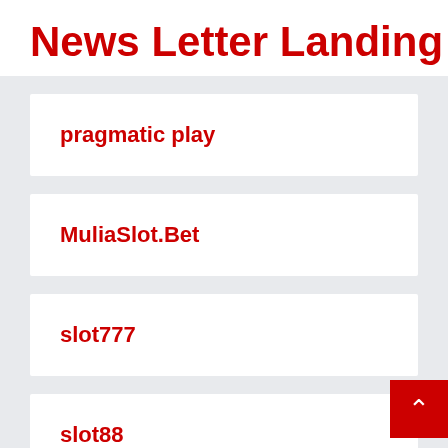News Letter Landing Pag
pragmatic play
MuliaSlot.Bet
slot777
slot88